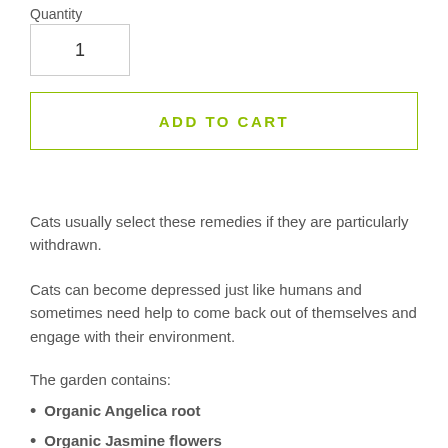Quantity
1
ADD TO CART
Cats usually select these remedies if they are particularly withdrawn.
Cats can become depressed just like humans and sometimes need help to come back out of themselves and engage with their environment.
The garden contains:
Organic Angelica root
Organic Jasmine flowers